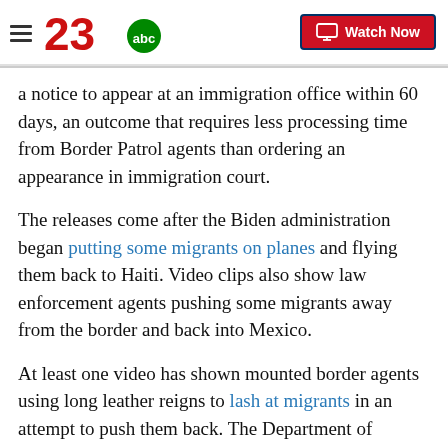23abc — Watch Now
a notice to appear at an immigration office within 60 days, an outcome that requires less processing time from Border Patrol agents than ordering an appearance in immigration court.
The releases come after the Biden administration began putting some migrants on planes and flying them back to Haiti. Video clips also show law enforcement agents pushing some migrants away from the border and back into Mexico.
At least one video has shown mounted border agents using long leather reigns to lash at migrants in an attempt to push them back. The Department of